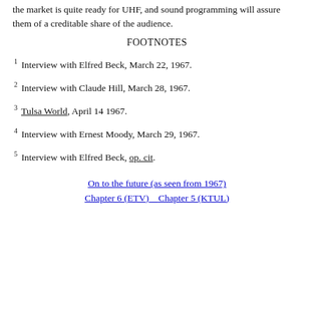the market is quite ready for UHF, and sound programming will assure them of a creditable share of the audience.
FOOTNOTES
1 Interview with Elfred Beck, March 22, 1967.
2 Interview with Claude Hill, March 28, 1967.
3 Tulsa World, April 14 1967.
4 Interview with Ernest Moody, March 29, 1967.
5 Interview with Elfred Beck, op. cit.
On to the future (as seen from 1967)
Chapter 6 (ETV)    Chapter 5 (KTUL)